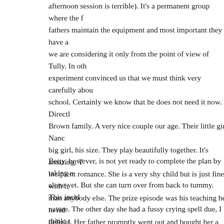afternoon session is terrible). It's a permanent group where the fathers maintain the equipment and most important they have a we are considering it only from the point of view of Tully. In oth experiment convinced us that we must think very carefully abou school. Certainly we know that he does not need it now. Directl Brown family. A very nice couple our age. Their little girl Nanc big girl, his size. They play beautifully together. It's amazing. T incipient romance. She is a very shy child but is just fine with h than anybody else. The prize episode was his teaching her to rid delight. Her father promptly went out and bought her a new trik trikes. Tully's trike really is not his. He outgrew the little one bu Lishner's mother came to the rescue with Janie's outworn bike w green. When we get Sue a two-wheeler (which she begs for regu big three-wheeler.
Betty, however, is not yet ready to complete the plan by taking o alone yet. But she can turn over from back to tummy. This incid nature. The other day she had a fussy crying spell due, I think, t surprised and upset to hear Betty crying (they having completel